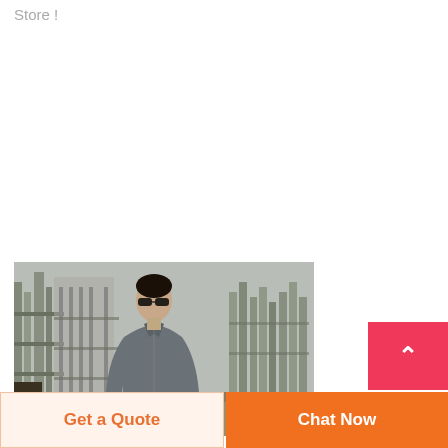Store !
[Figure (photo): Man wearing sunglasses and a grey jacket standing in front of a concrete construction site. Watermark text 'ywwisdom.en.alibaba.com' visible at the bottom of the image.]
Get a Quote
Chat Now